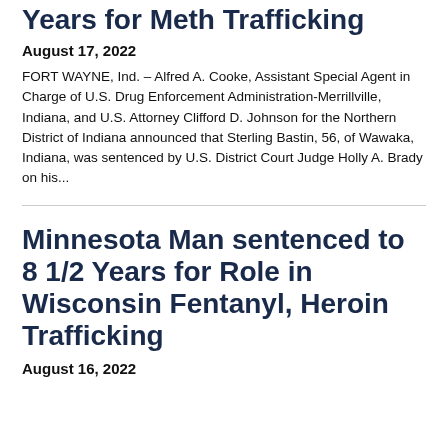Years for Meth Trafficking
August 17, 2022
FORT WAYNE, Ind. – Alfred A. Cooke, Assistant Special Agent in Charge of U.S. Drug Enforcement Administration-Merrillville, Indiana, and U.S. Attorney Clifford D. Johnson for the Northern District of Indiana announced that Sterling Bastin, 56, of Wawaka, Indiana, was sentenced by U.S. District Court Judge Holly A. Brady on his...
Minnesota Man sentenced to 8 1/2 Years for Role in Wisconsin Fentanyl, Heroin Trafficking
August 16, 2022